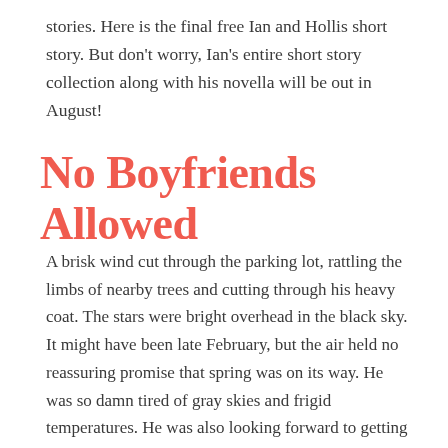stories. Here is the final free Ian and Hollis short story. But don't worry, Ian's entire short story collection along with his novella will be out in August!
No Boyfriends Allowed
A brisk wind cut through the parking lot, rattling the limbs of nearby trees and cutting through his heavy coat. The stars were bright overhead in the black sky. It might have been late February, but the air held no reassuring promise that spring was on its way. He was so damn tired of gray skies and frigid temperatures. He was also looking forward to getting Ian in shorts and swim trunks...and just fewer damn clothes. Right now, he was dressed in so many layers that it took forever to peel him down to skin.